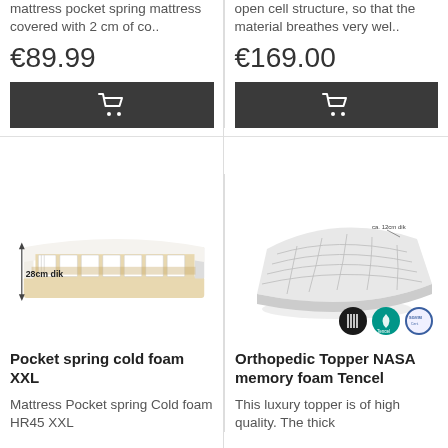mattress pocket spring mattress covered with 2 cm of co..
€89.99
[Figure (other): Dark grey add to cart button with shopping cart icon]
open cell structure, so that the material breathes very wel..
€169.00
[Figure (other): Dark grey add to cart button with shopping cart icon]
[Figure (illustration): Cross-section illustration of pocket spring cold foam mattress XXL, labeled 28cm dik]
[Figure (illustration): Orthopedic topper mattress product image with three certification badges: spring, leaf/Tencel, and quality certificate]
Pocket spring cold foam XXL
Orthopedic Topper NASA memory foam Tencel
Mattress Pocket spring Cold foam HR45 XXL
This luxury topper is of high quality. The thick